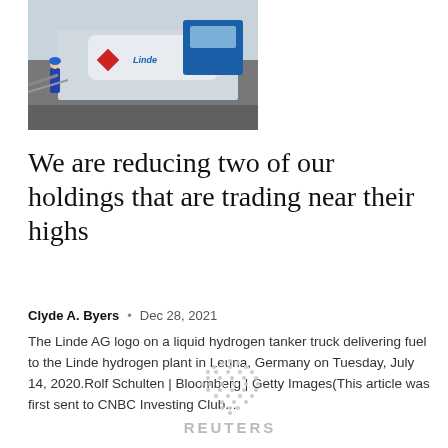[Figure (photo): Linde AG logo on a liquid hydrogen tanker truck, worker in blue overalls visible, industrial setting]
We are reducing two of our holdings that are trading near their highs
Clyde A. Byers  •  Dec 28, 2021
The Linde AG logo on a liquid hydrogen tanker truck delivering fuel to the Linde hydrogen plant in Leuna, Germany on Tuesday, July 14, 2020.Rolf Schulten | Bloomberg | Getty Images(This article was first sent to CNBC Investing Club...
[Figure (logo): Reuters logo: dotted globe icon above partially visible REUTERS text in gray]